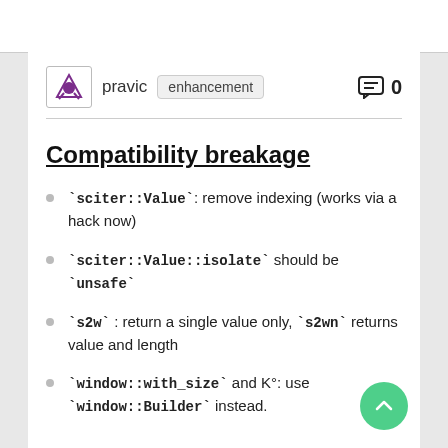pravic  enhancement  0
Compatibility breakage
`sciter::Value`: remove indexing (works via a hack now)
`sciter::Value::isolate` should be `unsafe`
`s2w` : return a single value only, `s2wn` returns value and length
`window::with_size` and K°: use `window::Builder` instead.